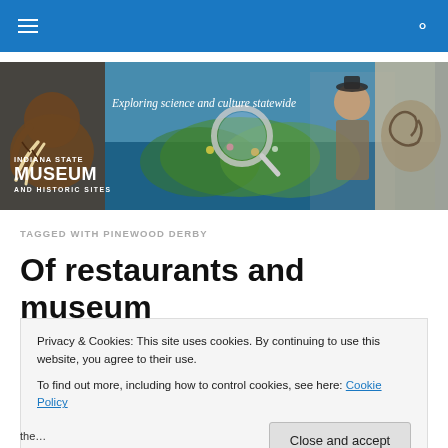Navigation bar with menu and search icons
[Figure (illustration): Indiana State Museum and Historic Sites banner with mammoth, magnifying glass, garden scene, historical figure, and fossil imagery. Tagline: Exploring science and culture statewide]
TAGGED WITH PINEWOOD DERBY
Of restaurants and museum artifacts
Privacy & Cookies: This site uses cookies. By continuing to use this website, you agree to their use.
To find out more, including how to control cookies, see here: Cookie Policy
Close and accept
the...